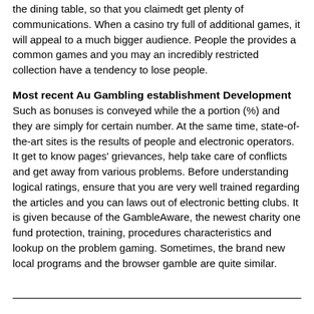the dining table, so that you claimedt get plenty of communications. When a casino try full of additional games, it will appeal to a much bigger audience. People the provides a common games and you may an incredibly restricted collection have a tendency to lose people.
Most recent Au Gambling establishment Development
Such as bonuses is conveyed while the a portion (%) and they are simply for certain number. At the same time, state-of-the-art sites is the results of people and electronic operators. It get to know pages' grievances, help take care of conflicts and get away from various problems. Before understanding logical ratings, ensure that you are very well trained regarding the articles and you can laws out of electronic betting clubs. It is given because of the GambleAware, the newest charity one fund protection, training, procedures characteristics and lookup on the problem gaming. Sometimes, the brand new local programs and the browser gamble are quite similar.